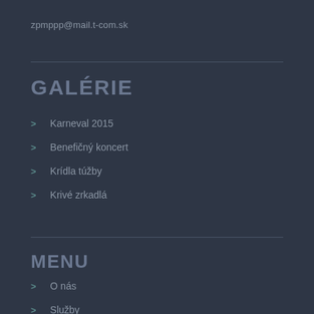zpmppp@mail.t-com.sk
GALÉRIE
> Karneval 2015
> Benefičný koncert
> Krídla túžby
> Krivé zrkadlá
MENU
> O nás
> Služby